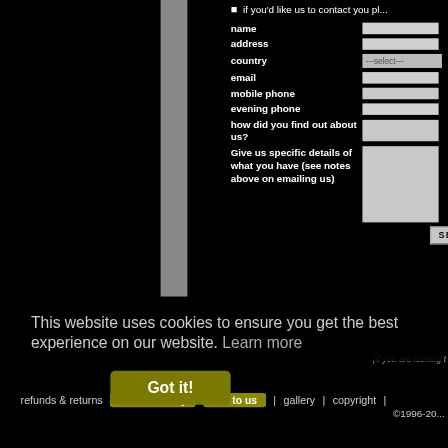if you'd like us to contact you pl...
name
address
country
email
mobile phone
evening phone
how did you find out about us?
Give us specific details of what you have (see notes above on emailing us)
This website uses cookies to ensure you get the best experience on our website. Learn more
Got it!
refunds & returns | where we buy | sell to us | gallery | copyright | ©1996-2...
(If you are looking t...